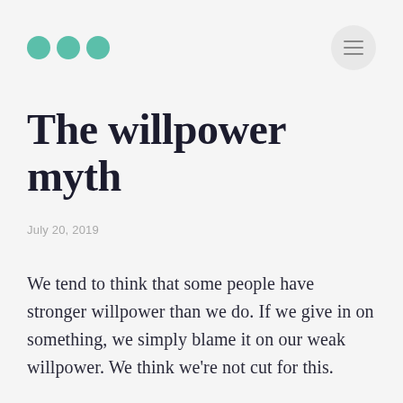Medium-style blog header with three teal dots logo and hamburger menu button
The willpower myth
July 20, 2019
We tend to think that some people have stronger willpower than we do. If we give in on something, we simply blame it on our weak willpower. We think we're not cut for this.